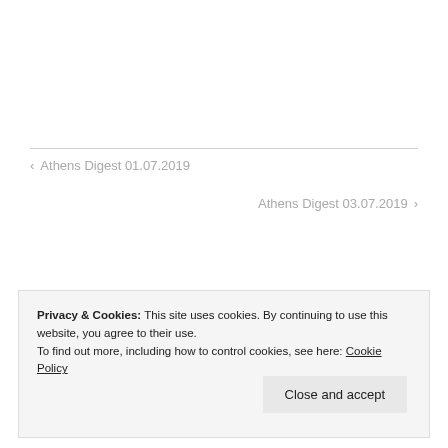‹ Athens Digest 01.07.2019
Athens Digest 03.07.2019 ›
Privacy & Cookies: This site uses cookies. By continuing to use this website, you agree to their use.
To find out more, including how to control cookies, see here: Cookie Policy
Close and accept